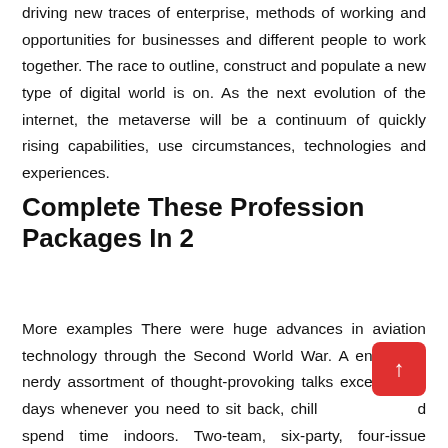driving new traces of enterprise, methods of working and opportunities for businesses and different people to work together. The race to outline, construct and populate a new type of digital world is on. As the next evolution of the internet, the metaverse will be a continuum of quickly rising capabilities, use circumstances, technologies and experiences.
Complete These Profession Packages In 2
More examples There were huge advances in aviation technology through the Second World War. A enjoyable, nerdy assortment of thought-provoking talks excellent for days whenever you need to sit back, chill and spend time indoors. Two-team, six-party, four-issue negotiation between representatives of two companies